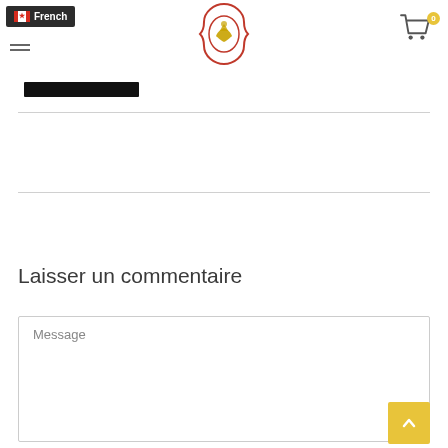French (language selector) | Logo | Cart (0)
[Figure (screenshot): Black rectangular button/bar below the navigation]
Laisser un commentaire
Message